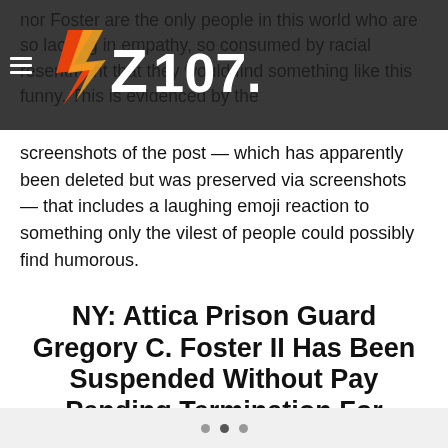Z 107.9
nor Foster are the only people in this world who are so lacking in empathy, so consumed by racial resentment that they would find something like this funny. This is evidenced by the screenshots of the post — which has apparently been deleted but was preserved via screenshots — that includes a laughing emoji reaction to something only the vilest of people could possibly find humorous.
NY: Attica Prison Guard Gregory C. Foster II Has Been Suspended Without Pay Pending Termination For Mocking Tops Friendly Market Massacred Black Victims By White Supremacist In Buffalo https://t.co/d34Ql4UjgU pic.twitter.com/K9CqIEHtsV
• • •